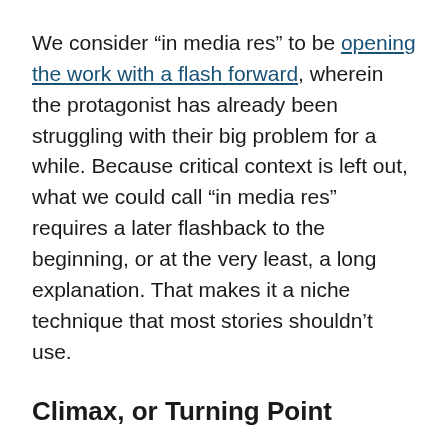We consider “in media res” to be opening the work with a flash forward, wherein the protagonist has already been struggling with their big problem for a while. Because critical context is left out, what we could call “in media res” requires a later flashback to the beginning, or at the very least, a long explanation. That makes it a niche technique that most stories shouldn’t use.
Climax, or Turning Point
“Climax” is a fairly well understood concept, but there’s no universal definition on how much of the story should be considered the climax. You could call a whole chapter a climax, or just one scene (the